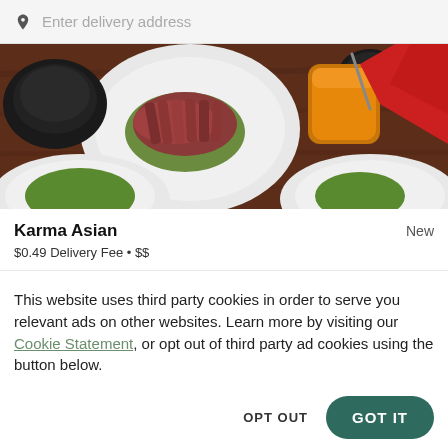Enter delivery address
[Figure (photo): Overhead view of Asian food dishes on a dark wooden table, including sliced meat on a white plate with greens, black bowls, an orange drink, and red napkins]
Karma Asian
New
$0.49 Delivery Fee • $$
This website uses third party cookies in order to serve you relevant ads on other websites. Learn more by visiting our Cookie Statement, or opt out of third party ad cookies using the button below.
OPT OUT
GOT IT